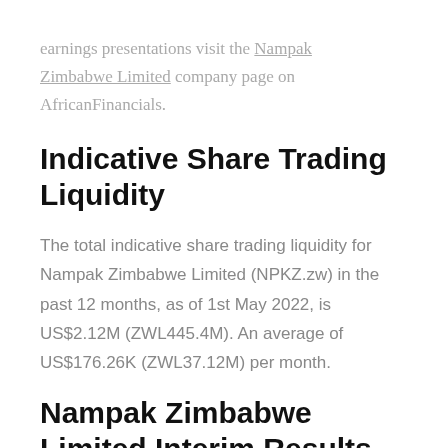earnings presentations visit the Nampak Zimbabwe Limited company page on AfricanFinancials.
Indicative Share Trading Liquidity
The total indicative share trading liquidity for Nampak Zimbabwe Limited (NPKZ.zw) in the past 12 months, as of 1st May 2022, is US$2.12M (ZWL445.4M). An average of US$176.26K (ZWL37.12M) per month.
Nampak Zimbabwe Limited Interim Results